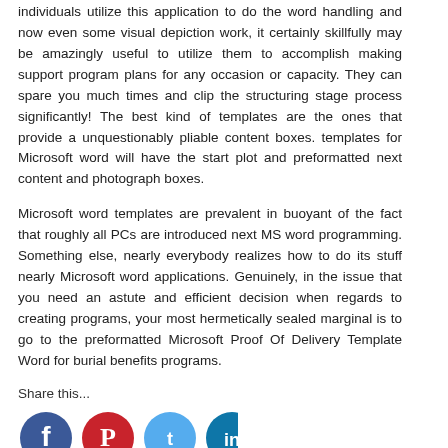individuals utilize this application to do the word handling and now even some visual depiction work, it certainly skillfully may be amazingly useful to utilize them to accomplish making support program plans for any occasion or capacity. They can spare you much times and clip the structuring stage process significantly! The best kind of templates are the ones that provide a unquestionably pliable content boxes. templates for Microsoft word will have the start plot and preformatted next content and photograph boxes.
Microsoft word templates are prevalent in buoyant of the fact that roughly all PCs are introduced next MS word programming. Something else, nearly everybody realizes how to do its stuff nearly Microsoft word applications. Genuinely, in the issue that you need an astute and efficient decision when regards to creating programs, your most hermetically sealed marginal is to go to the preformatted Microsoft Proof Of Delivery Template Word for burial benefits programs.
Share this...
[Figure (infographic): Four social media icons in circles: Facebook (dark blue), Pinterest (red/white), Twitter (light blue), LinkedIn (teal/blue)]
RELATED POSTS: